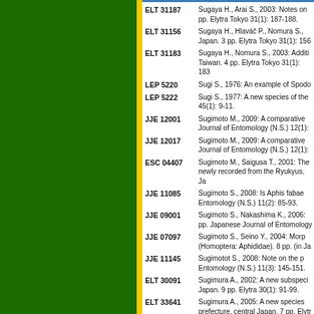ELT 31187 — Sugaya H., Arai S., 2003: Notes on pp. Elytra Tokyo 31(1): 187-188.
ELT 31156 — Sugaya H., Hlaváč P., Nomura S., Japan. 3 pp. Elytra Tokyo 31(1): 156
ELT 31183 — Sugaya H., Nomura S., 2003: Additi Taiwan. 4 pp. Elytra Tokyo 31(1): 183
LEP 5220 — Sugi S., 1976: An example of Spodo
LEP 5222 — Sugi S., 1977: A new species of the 45(1): 9-11.
JJE 12001 — Sugimoto M., 2009: A comparative Journal of Entomology (N.S.) 12(1):
JJE 12017 — Sugimoto M., 2009: A comparative Journal of Entomology (N.S.) 12(1):
ESC 04407 — Sugimoto M., Saigusa T., 2001: The newly recorded from the Ryukyus, Ja
JJE 11085 — Sugimoto S., 2008: Is Aphis fabae Entomology (N.S.) 11(2): 85-93.
JJE 09001 — Sugimoto S., Nakashima K., 2006: pp. Japanese Journal of Entomology
JJE 07097 — Sugimoto S., Seino Y., 2004: Morp (Homoptera: Aphididae). 8 pp. (in Ja
JJE 11145 — Sugimotot S., 2008: Note on the p Entomology (N.S.) 11(3): 145-151.
ELT 30091 — Sugimura A., 2002: A new subspeci Japan. 9 pp. Elytra 30(1): 91-99.
ELT 33641 — Sugimura A., 2005: A new species prefecture, central Japan. 7 pp. Elytr
ELT 34033 — Sugimura A:, 2006: A new species prefecture, central Japan. 7 pp. Elytr
ESC 13183 — Sugiura M., Imafuku M., Ohtani T., 2 13(2): 183-190.